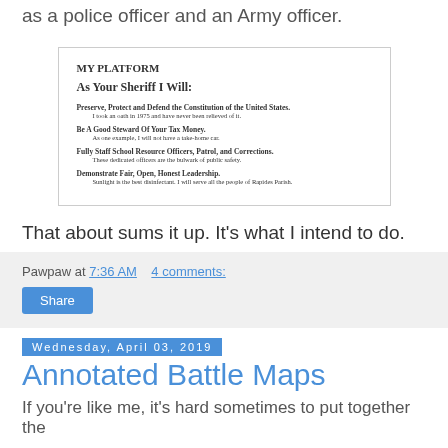as a police officer and an Army officer.
[Figure (other): Scanned image of a campaign platform card titled 'MY PLATFORM - As Your Sheriff I Will:' with four bullet points: Preserve, Protect and Defend the Constitution of the United States; Be A Good Steward Of Your Tax Money; Fully Staff School Resource Officers, Patrol, and Corrections; Demonstrate Fair, Open, Honest Leadership.]
That about sums it up.  It's what I intend to do.
Pawpaw at 7:36 AM    4 comments:
Share
Wednesday, April 03, 2019
Annotated Battle Maps
If you're like me, it's hard sometimes to put together the